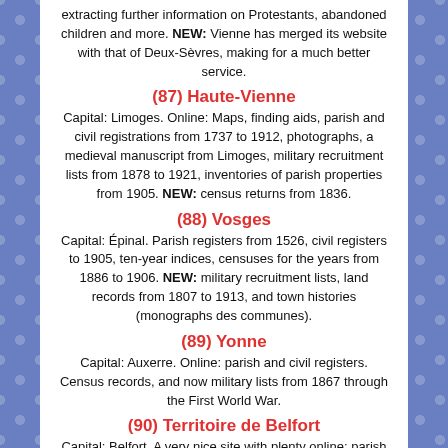extracting further information on Protestants, abandoned children and more. NEW: Vienne has merged its website with that of Deux-Sèvres, making for a much better service.
(87) Haute-Vienne
Capital: Limoges. Online: Maps, finding aids, parish and civil registrations from 1737 to 1912, photographs, a medieval manuscript from Limoges, military recruitment lists from 1878 to 1921, inventories of parish properties from 1905. NEW: census returns from 1836.
(88) Vosges
Capital: Épinal. Parish registers from 1526, civil registers to 1905, ten-year indices, censuses for the years from 1886 to 1906. NEW: military recruitment lists, land records from 1807 to 1913, and town histories (monographs des communes).
(89) Yonne
Capital: Auxerre. Online: parish and civil registers. Census records, and now military lists from 1867 through the First World War.
(90) Territoire de Belfort
Capital: Belfort. A very nice site with plenty online: parish and civil registrations, censuses, military registrations, and historic maps. Additionally, local archivists have created an excellent site of indexed data from the parish and civil registrations. It is